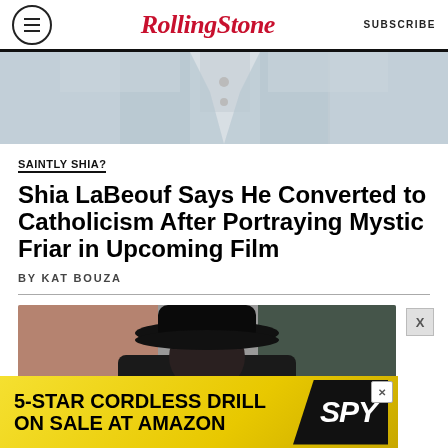Rolling Stone | SUBSCRIBE
[Figure (photo): Top portion of photo showing person in light gray jacket, cropped at torso level]
SAINTLY SHIA?
Shia LaBeouf Says He Converted to Catholicism After Portraying Mystic Friar in Upcoming Film
BY KAT BOUZA
[Figure (photo): Person wearing a dark black hat, seen from behind/side, blurred background]
[Figure (other): Advertisement banner: 5-STAR CORDLESS DRILL ON SALE AT AMAZON / SPY logo]